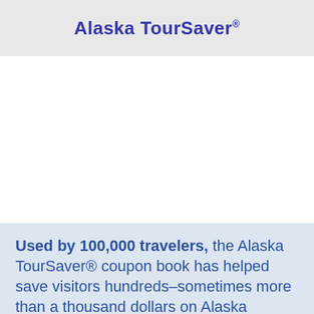Alaska TourSaver®
Used by 100,000 travelers, the Alaska TourSaver® coupon book has helped save visitors hundreds–sometimes more than a thousand dollars on Alaska